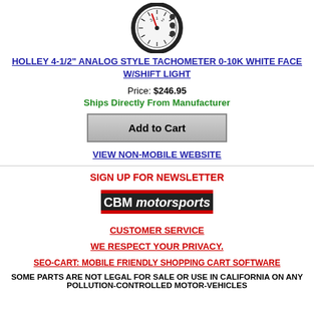[Figure (photo): Tachometer gauge with white face, 0-10K range, shift light]
HOLLEY 4-1/2" ANALOG STYLE TACHOMETER 0-10K WHITE FACE W/SHIFT LIGHT
Price: $246.95
Ships Directly From Manufacturer
Add to Cart
VIEW NON-MOBILE WEBSITE
SIGN UP FOR NEWSLETTER
[Figure (logo): CBM Motorsports logo]
CUSTOMER SERVICE
WE RESPECT YOUR PRIVACY.
SEO-CART: MOBILE FRIENDLY SHOPPING CART SOFTWARE
SOME PARTS ARE NOT LEGAL FOR SALE OR USE IN CALIFORNIA ON ANY POLLUTION-CONTROLLED MOTOR-VEHICLES